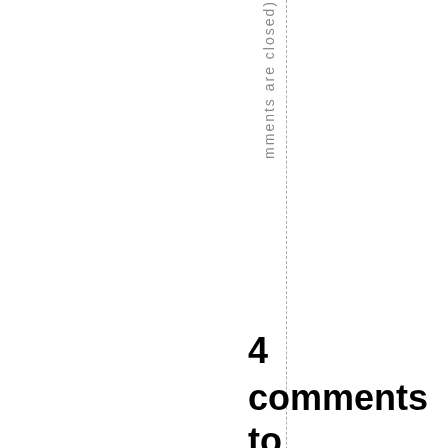mments are closed)
4 comments to Tragedy of